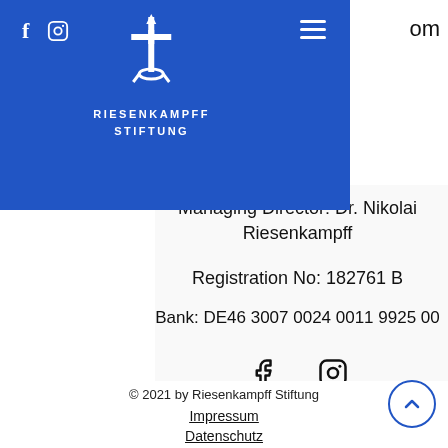Riesenkampff Stiftung — navigation header with logo
Managing Director: Dr. Nikolai Riesenkampff
Registration No: 182761 B
Bank: DE46 3007 0024 0011 9925 00
[Figure (other): Facebook and Instagram social media icons]
© 2021 by Riesenkampff Stiftung
Impressum
Datenschutz